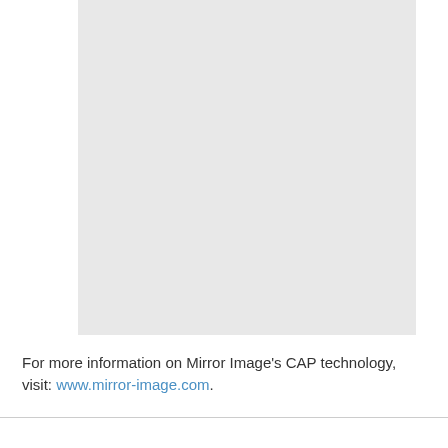[Figure (other): A large light gray rectangular placeholder image occupying the upper portion of the page.]
For more information on Mirror Image’s CAP technology, visit: www.mirror-image.com.